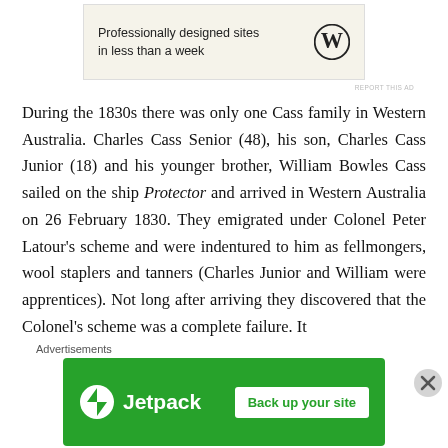[Figure (other): WordPress advertisement banner: 'Professionally designed sites in less than a week' with WordPress logo]
During the 1830s there was only one Cass family in Western Australia. Charles Cass Senior (48), his son, Charles Cass Junior (18) and his younger brother, William Bowles Cass sailed on the ship Protector and arrived in Western Australia on 26 February 1830. They emigrated under Colonel Peter Latour's scheme and were indentured to him as fellmongers, wool staplers and tanners (Charles Junior and William were apprentices). Not long after arriving they discovered that the Colonel's scheme was a complete failure. It
Advertisements
[Figure (other): Jetpack advertisement banner: green background with Jetpack logo and 'Back up your site' button]